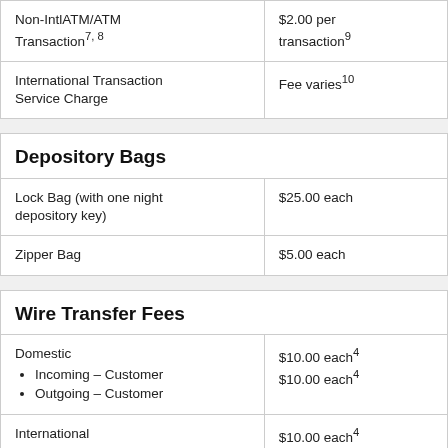| Service | Fee |
| --- | --- |
| Non-IntlATM/ATM Transaction⁷ ⁸ | $2.00 per transaction⁹ |
| International Transaction Service Charge | Fee varies¹⁰ |
Depository Bags
| Service | Fee |
| --- | --- |
| Lock Bag (with one night depository key) | $25.00 each |
| Zipper Bag | $5.00 each |
Wire Transfer Fees
| Service | Fee |
| --- | --- |
| Domestic
• Incoming – Customer
• Outgoing – Customer | $10.00 each⁴
$10.00 each⁴ |
| International
• Incoming – Customer
• Outgoing – Customer | $10.00 each⁴
$40.00 each⁴ |